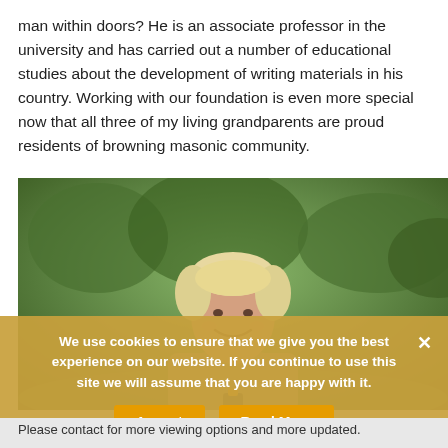man within doors? He is an associate professor in the university and has carried out a number of educational studies about the development of writing materials in his country. Working with our foundation is even more special now that all three of my living grandparents are proud residents of browning masonic community.
[Figure (photo): An elderly woman with short blonde hair smiling outdoors in a green park setting, photographed from the waist up.]
We use cookies to ensure that we give you the best experience on our website. If you continue to use this site we will assume that you are happy with it.
Please contact for more viewing options and more updated.